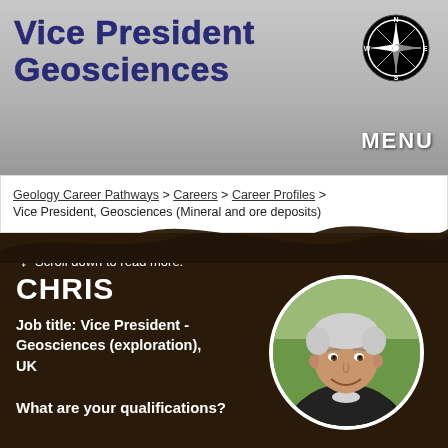Vice President Geosciences
[Figure (logo): Compass rose logo in black circle with N, S, E, W markers]
MENU
Geology Career Pathways > Careers > Career Profiles > Vice President, Geosciences (Mineral and ore deposits)
[Figure (photo): Middle-aged man with grey hair smiling, wearing a dark jacket, circular cropped portrait photo]
↓ Scroll down to read more:
CHRIS
Job title: Vice President - Geosciences (exploration), UK
What are your qualifications?